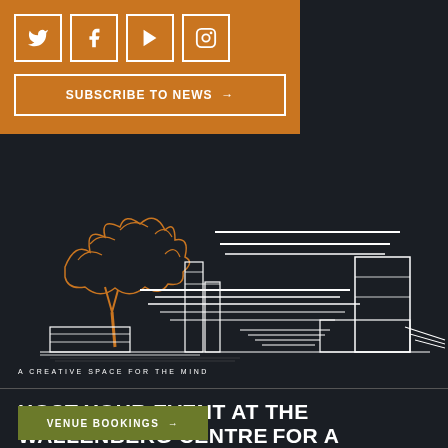[Figure (infographic): Orange social media panel with Twitter, Facebook, YouTube, Instagram icons in white-bordered squares, and a Subscribe to News button]
[Figure (illustration): Line drawing sketch of the Wallenberg Centre building with an orange tree on dark background. Tagline reads A CREATIVE SPACE FOR THE MIND]
HOST YOUR EVENT AT THE WALLENBERG CENTRE FOR A SEAMLESS CONFERENCING EXPERIENCE.
VENUE BOOKINGS →